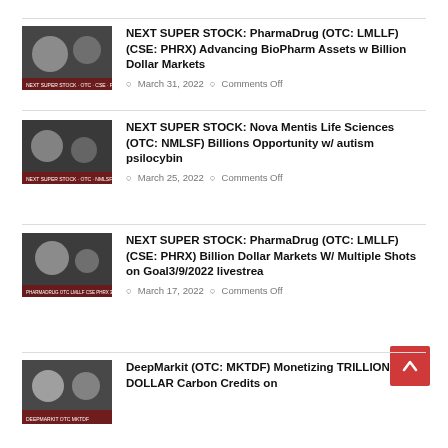[Figure (photo): Thumbnail image for PharmaDrug article (March 31)]
NEXT SUPER STOCK: PharmaDrug (OTC: LMLLF) (CSE: PHRX) Advancing BioPharm Assets w Billion Dollar Markets
March 31, 2022   Comments Off
[Figure (photo): Thumbnail image for Nova Mentis Life Sciences article]
NEXT SUPER STOCK: Nova Mentis Life Sciences (OTC: NMLSF) Billions Opportunity w/ autism psilocybin
March 25, 2022   Comments Off
[Figure (photo): Thumbnail image for PharmaDrug March 17 article]
NEXT SUPER STOCK: PharmaDrug (OTC: LMLLF) (CSE: PHRX) Billion Dollar Markets W/ Multiple Shots on Goal3/9/2022 livestrea
March 17, 2022   Comments Off
[Figure (photo): Thumbnail image for DeepMarkit article]
DeepMarkit (OTC: MKTDF) Monetizing TRILLION DOLLAR Carbon Credits on